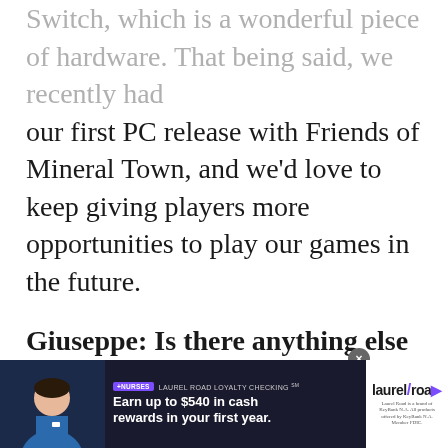Switch, which is a wonderful piece of hardware. That being said, we recently had our first PC release with Friends of Mineral Town, and we'd love to keep giving players more opportunities to play our games in the future.
Giuseppe: Is there anything else you'd like to share with our readers?
CONTENT CONTINUES AFTER AD
[Figure (photo): Advertisement banner for Laurel Road Loyalty Checking featuring a nurse and text 'Earn up to $540 in cash rewards in your first year.']